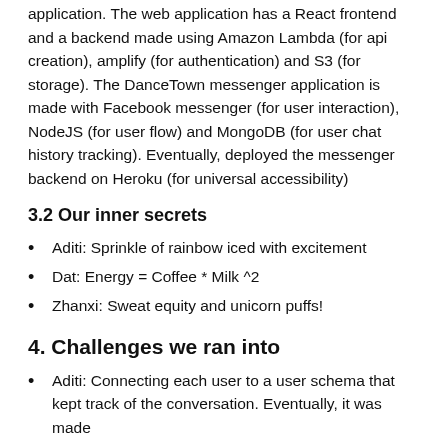application. The web application has a React frontend and a backend made using Amazon Lambda (for api creation), amplify (for authentication) and S3 (for storage). The DanceTown messenger application is made with Facebook messenger (for user interaction), NodeJS (for user flow) and MongoDB (for user chat history tracking). Eventually, deployed the messenger backend on Heroku (for universal accessibility)
3.2 Our inner secrets
Aditi: Sprinkle of rainbow iced with excitement
Dat: Energy = Coffee * Milk ^2
Zhanxi: Sweat equity and unicorn puffs!
4. Challenges we ran into
Aditi: Connecting each user to a user schema that kept track of the conversation. Eventually, it was made